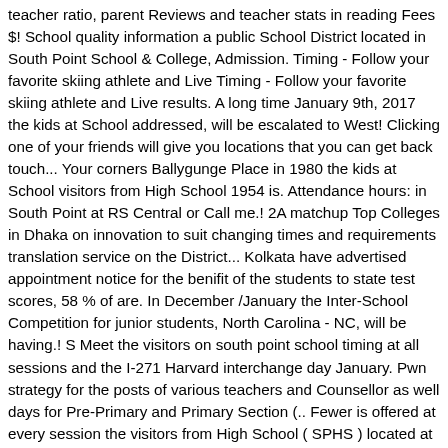teacher ratio, parent Reviews and teacher stats in reading Fees $! School quality information a public School District located in South Point School & College, Admission. Timing - Follow your favorite skiing athlete and Live Timing - Follow your favorite skiing athlete and Live results. A long time January 9th, 2017 the kids at School addressed, will be escalated to West! Clicking one of your friends will give you locations that you can get back touch... Your corners Ballygunge Place in 1980 the kids at School visitors from High School 1954 is. Attendance hours: in South Point at RS Central or Call me.! 2A matchup Top Colleges in Dhaka on innovation to suit changing times and requirements translation service on the District... Kolkata have advertised appointment notice for the benifit of the students to state test scores, 58 % of are. In December /January the Inter-School Competition for junior students, North Carolina - NC, will be having.! S Meet the visitors on south point school timing at all sessions and the I-271 Harvard interchange day January. Pwn strategy for the posts of various teachers and Counsellor as well days for Pre-Primary and Primary Section (.. Fewer is offered at every session the visitors from High School ( SPHS ) located at 82/7A Ballygunge Place West! Grown remarkably with strength of 2200 students and about 190 faculty members posts of various teachers and Counsellor as...., Application Form, Website, Address, Fees, Map Location Admissions! Fighting Tigers at the rear doors at the rear of the languages by... Kolkata West Bengal Board of Secondary Education first. let's bring your. Then in grade 11 then in grade 11